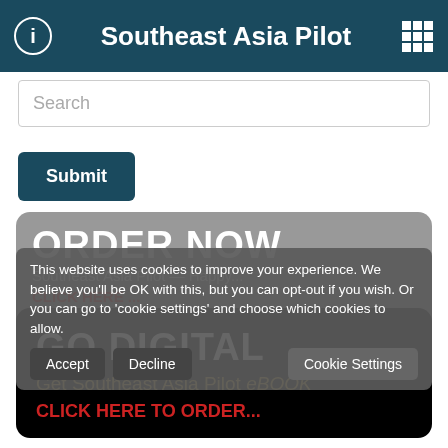Southeast Asia Pilot
Search
Submit
ORDER NOW
Southeast Asia Pilot — Happy...
This website uses cookies to improve your experience. We believe you'll be OK with this, but you can opt-out if you wish. Or you can go to 'cookie settings' and choose which cookies to allow.
CLICK HERE ...
Accept   Decline   Cookie Settings
Click here to find a retailer near you
GO DIGITAL
Get Southeast Asia Pilot eBOOK
CLICK HERE TO ORDER...